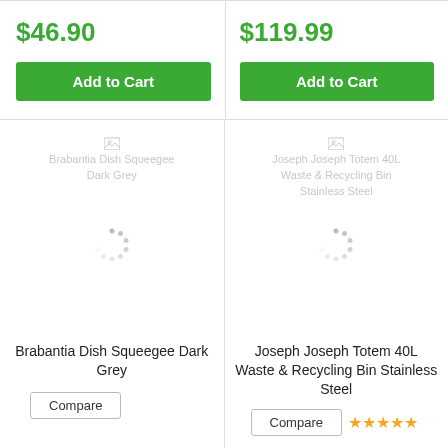$46.90
Add to Cart
$119.99
Add to Cart
[Figure (photo): Loading placeholder for Brabantia Dish Squeegee Dark Grey product image]
[Figure (photo): Loading placeholder for Joseph Joseph Totem 40L Waste & Recycling Bin Stainless Steel product image]
Brabantia Dish Squeegee Dark Grey
Joseph Joseph Totem 40L Waste & Recycling Bin Stainless Steel
Compare
Compare